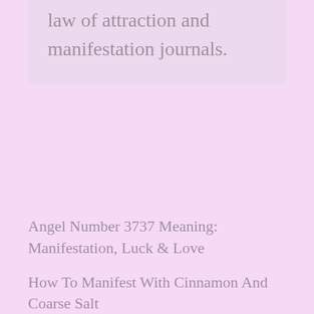law of attraction and manifestation journals.
Angel Number 3737 Meaning: Manifestation, Luck & Love
How To Manifest With Cinnamon And Coarse Salt
10 Signs From The Universe Your Ex Is Coming Back